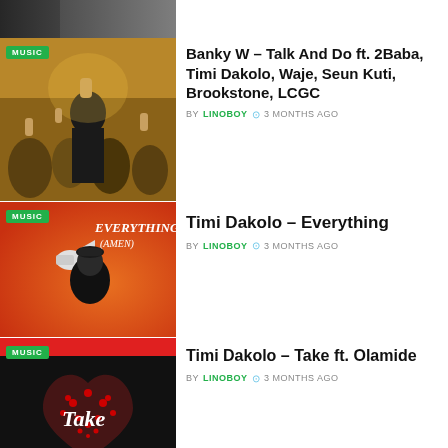[Figure (photo): Partial thumbnail of a music article at top of page, cropped]
[Figure (photo): Album art for Banky W - Talk And Do ft. 2Baba, Timi Dakolo, Waje, Seun Kuti, Brookstone, LCGC with MUSIC badge]
Banky W – Talk And Do ft. 2Baba, Timi Dakolo, Waje, Seun Kuti, Brookstone, LCGC
BY LINOBOY  3 MONTHS AGO
[Figure (photo): Album art for Timi Dakolo - Everything (Amen) showing man with megaphone on orange background, MUSIC badge]
Timi Dakolo – Everything
BY LINOBOY  3 MONTHS AGO
[Figure (photo): Album art for Timi Dakolo - Take ft. Olamide showing heart made of small hearts on dark background, MUSIC badge]
Timi Dakolo – Take ft. Olamide
BY LINOBOY  3 MONTHS AGO